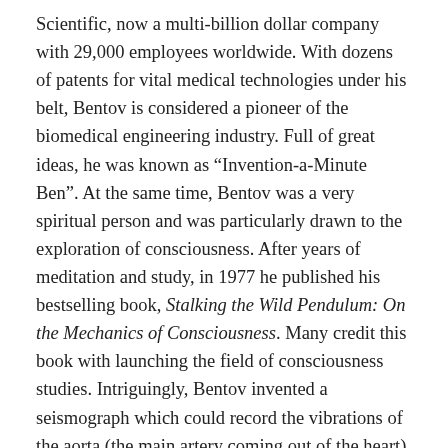Scientific, now a multi-billion dollar company with 29,000 employees worldwide. With dozens of patents for vital medical technologies under his belt, Bentov is considered a pioneer of the biomedical engineering industry. Full of great ideas, he was known as “Invention-a-Minute Ben”. At the same time, Bentov was a very spiritual person and was particularly drawn to the exploration of consciousness. After years of meditation and study, in 1977 he published his bestselling book, Stalking the Wild Pendulum: On the Mechanics of Consciousness. Many credit this book with launching the field of consciousness studies. Intriguingly, Bentov invented a seismograph which could record the vibrations of the aorta (the main artery coming out of the heart). He demonstrated that when a person meditates, the aorta’s vibrations tune to the beat of the heart, and synchronize with the brain’s alpha waves, and the Earth’s own magnetic pulsations. Bentov became a leading researcher on paranormal and supernatural phenomena, working alongside the renowned Dr. Andrija Puharich and Apollo astronaut